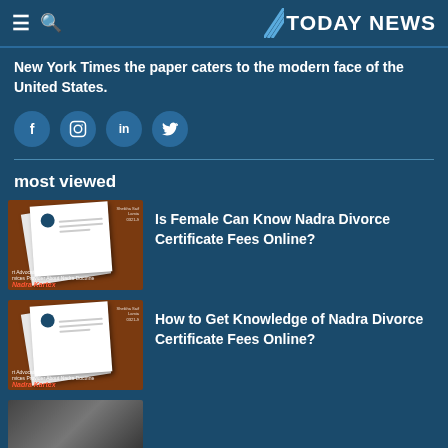TODAY NEWS
New York Times the paper caters to the modern face of the United States.
[Figure (other): Social media icons: Facebook, Instagram, LinkedIn, Twitter]
most viewed
[Figure (photo): Thumbnail image of documents/papers for Nadra Divorce Certificate article]
Is Female Can Know Nadra Divorce Certificate Fees Online?
[Figure (photo): Thumbnail image of documents/papers for Nadra Divorce Certificate article]
How to Get Knowledge of Nadra Divorce Certificate Fees Online?
[Figure (photo): Thumbnail image at bottom, partially visible]